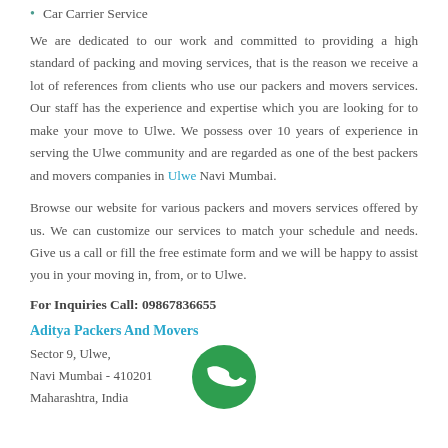Car Carrier Service
We are dedicated to our work and committed to providing a high standard of packing and moving services, that is the reason we receive a lot of references from clients who use our packers and movers services. Our staff has the experience and expertise which you are looking for to make your move to Ulwe. We possess over 10 years of experience in serving the Ulwe community and are regarded as one of the best packers and movers companies in Ulwe Navi Mumbai.
Browse our website for various packers and movers services offered by us. We can customize our services to match your schedule and needs. Give us a call or fill the free estimate form and we will be happy to assist you in your moving in, from, or to Ulwe.
For Inquiries Call: 09867836655
Aditya Packers And Movers
Sector 9, Ulwe,
Navi Mumbai - 410201
Maharashtra, India